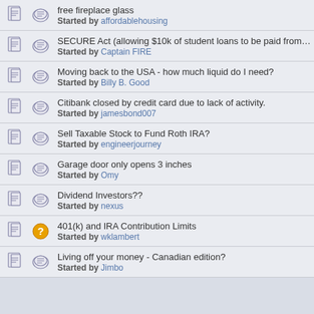free fireplace glass - Started by affordablehousing
SECURE Act (allowing $10k of student loans to be paid from 529) - Started by Captain FIRE
Moving back to the USA - how much liquid do I need? - Started by Billy B. Good
Citibank closed by credit card due to lack of activity. - Started by jamesbond007
Sell Taxable Stock to Fund Roth IRA? - Started by engineerjourney
Garage door only opens 3 inches - Started by Omy
Dividend Investors?? - Started by nexus
401(k) and IRA Contribution Limits - Started by wklambert
Living off your money - Canadian edition? - Started by Jimbo